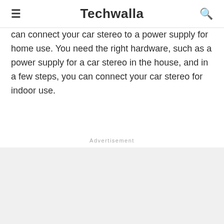≡ Techwalla 🔍
can connect your car stereo to a power supply for home use. You need the right hardware, such as a power supply for a car stereo in the house, and in a few steps, you can connect your car stereo for indoor use.
Advertisement